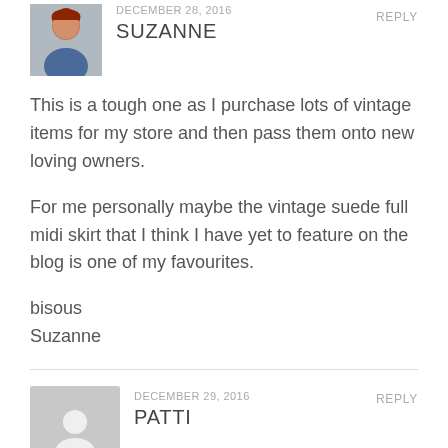DECEMBER 28, 2016
REPLY
SUZANNE
This is a tough one as I purchase lots of vintage items for my store and then pass them onto new loving owners.
For me personally maybe the vintage suede full midi skirt that I think I have yet to feature on the blog is one of my favourites.
bisous
Suzanne
DECEMBER 29, 2016
REPLY
PATTI